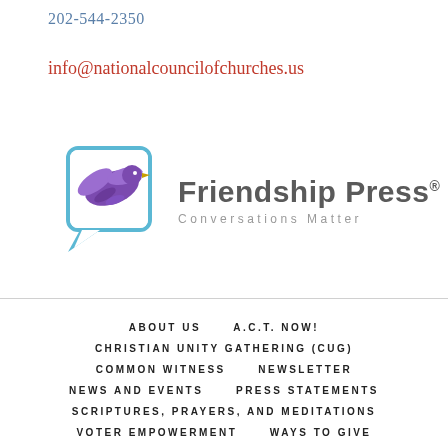202-544-2350
info@nationalcouncilofchurches.us
[Figure (logo): Friendship Press logo with a purple dove/leaf in a blue speech bubble outline, text reads 'Friendship Press® Conversations Matter']
ABOUT US
A.C.T. NOW!
CHRISTIAN UNITY GATHERING (CUG)
COMMON WITNESS
NEWSLETTER
NEWS AND EVENTS
PRESS STATEMENTS
SCRIPTURES, PRAYERS, AND MEDITATIONS
VOTER EMPOWERMENT
WAYS TO GIVE